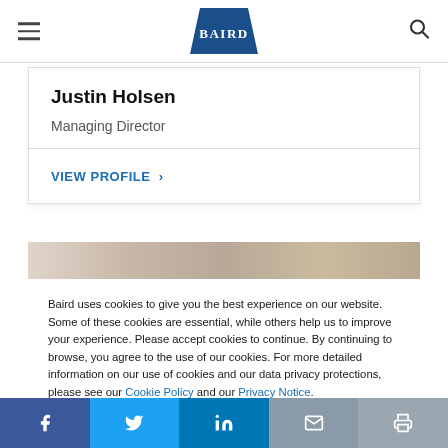Baird
Justin Holsen
Managing Director
VIEW PROFILE  >
[Figure (photo): Partial photo strip showing blurred background image]
Baird uses cookies to give you the best experience on our website. Some of these cookies are essential, while others help us to improve your experience. Please accept cookies to continue. By continuing to browse, you agree to the use of our cookies. For more detailed information on our use of cookies and our data privacy protections, please see our Cookie Policy and our Privacy Notice.
Facebook Twitter LinkedIn Email Print